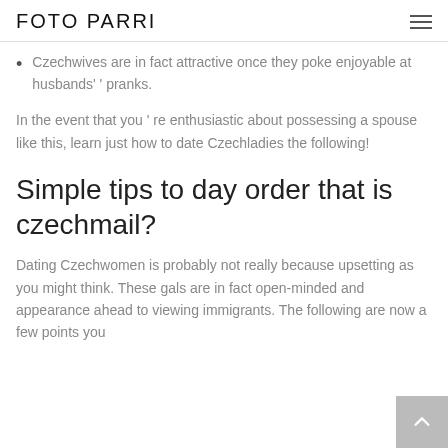FOTO PARRI
Czechwives are in fact attractive once they poke enjoyable at husbands' ' pranks.
In the event that you ' re enthusiastic about possessing a spouse like this, learn just how to date Czechladies the following!
Simple tips to day order that is czechmail?
Dating Czechwomen is probably not really because upsetting as you might think. These gals are in fact open-minded and appearance ahead to viewing immigrants. The following are now a few points you